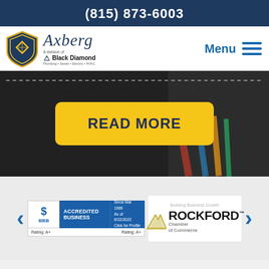(815) 873-6003
[Figure (logo): Axberg / Black Diamond plumbing logo with shield icon]
Menu
[Figure (photo): Dark background hero image with colorful pipes/wires and a yellow READ MORE button]
[Figure (logo): BBB Accredited Business badge - Accredited since Mar 1989, As of 8/22/2022, Rating A+]
[Figure (logo): Rockford Chamber of Commerce - Building Business Growth logo]